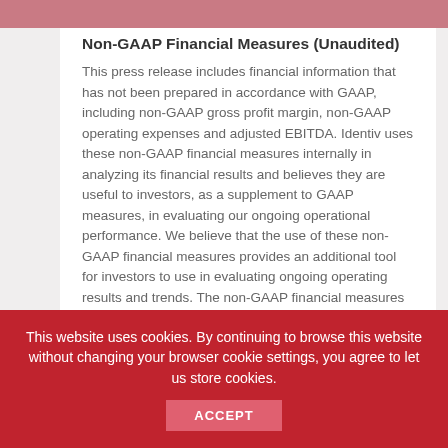Non-GAAP Financial Measures (Unaudited)
This press release includes financial information that has not been prepared in accordance with GAAP, including non-GAAP gross profit margin, non-GAAP operating expenses and adjusted EBITDA. Identiv uses these non-GAAP financial measures internally in analyzing its financial results and believes they are useful to investors, as a supplement to GAAP measures, in evaluating our ongoing operational performance. We believe that the use of these non-GAAP financial measures provides an additional tool for investors to use in evaluating ongoing operating results and trends. The non-GAAP financial measures described above should not be considered in isolation from, or as a substitute for, financial information prepared in accordance with GAAP.
This website uses cookies. By continuing to browse this website without changing your browser cookie settings, you agree to let us store cookies.